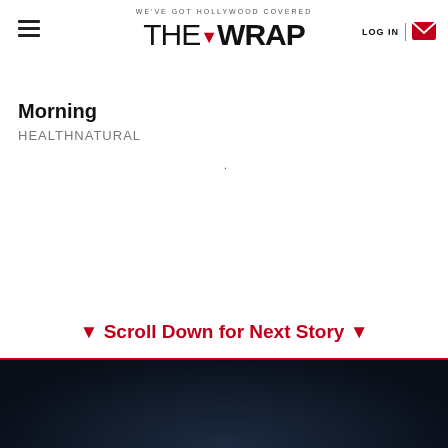WE'VE GOT HOLLYWOOD COVERED — THE WRAP | LOG IN
Morning
HEALTHNATURAL
.
▼ Scroll Down for Next Story ▼
[Figure (photo): Dark background image at bottom of page showing a dimly lit figure or scene]